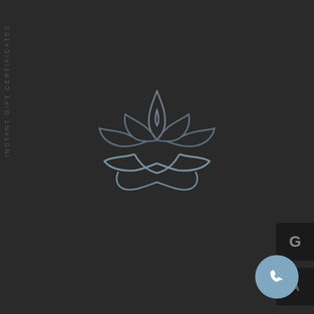[Figure (logo): Lotus flower / yoga pose outline logo in dark slate blue tones on dark background, centered on the page]
INSTANT GIFT CERTIFICATES
[Figure (logo): Google 'G' logo button on dark background, top right]
[Figure (logo): Second icon button on dark background, lower right]
[Figure (illustration): Phone call button - circular light blue button with white phone handset icon, bottom right corner]